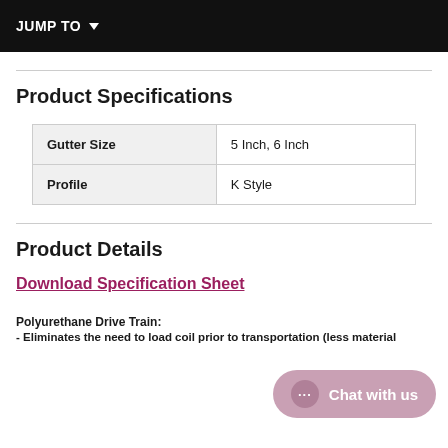JUMP TO
Product Specifications
|  |  |
| --- | --- |
| Gutter Size | 5 Inch, 6 Inch |
| Profile | K Style |
Product Details
Download Specification Sheet
Polyurethane Drive Train:
- Eliminates the need to load coil prior to transportation (less material